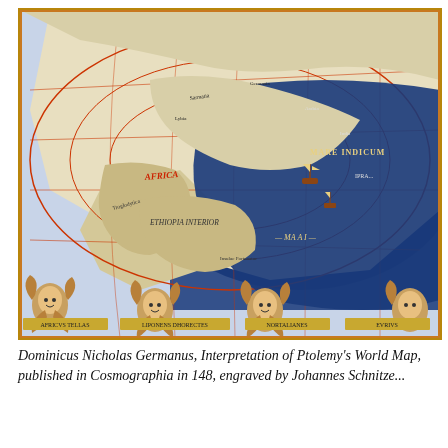[Figure (map): Dominicus Nicholas Germanus, Interpretation of Ptolemy's World Map — a detailed, colorful historical world map showing Africa (labeled 'AFRICA' and 'ETHIOPIA INTERIOR'), bodies of water in deep blue (labeled 'MARE INDICUM' and 'MA A I'), a curved/conic projection with red latitude lines, wind heads along the bottom border, and coastal text labels throughout. Ships are visible on the seas. The map has decorative border with orange/gold framing.]
Dominicus Nicholas Germanus, Interpretation of Ptolemy's World Map, published in Cosmographia in 148, engraved by Johannes Schnitze...